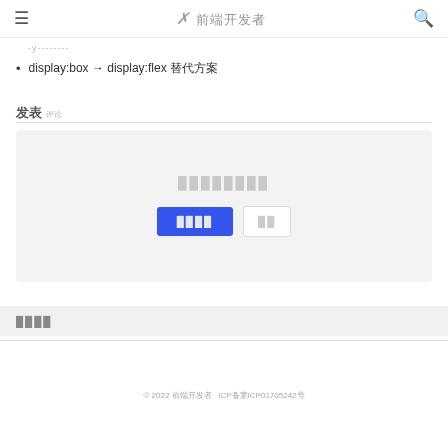≡  ✕前端开发者  🔍
-y--------
display:box → display:flex 替代方案
发表 评论
[Figure (screenshot): Comment form with placeholder text, a blue primary button and a secondary outlined button]
相关文章
© 2022 前端开发者   ICP备案ICP01705242号